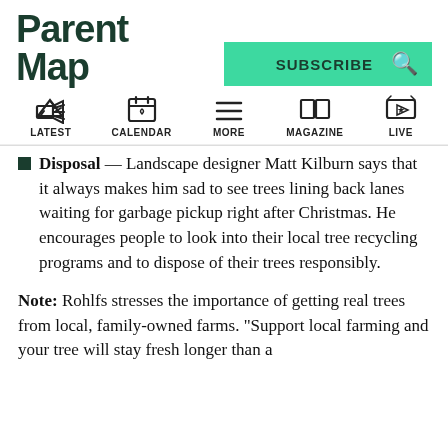ParentMap
SUBSCRIBE
LATEST | CALENDAR | MORE | MAGAZINE | LIVE
Disposal — Landscape designer Matt Kilburn says that it always makes him sad to see trees lining back lanes waiting for garbage pickup right after Christmas. He encourages people to look into their local tree recycling programs and to dispose of their trees responsibly.
Note: Rohlfs stresses the importance of getting real trees from local, family-owned farms. "Support local farming and your tree will stay fresh longer than a